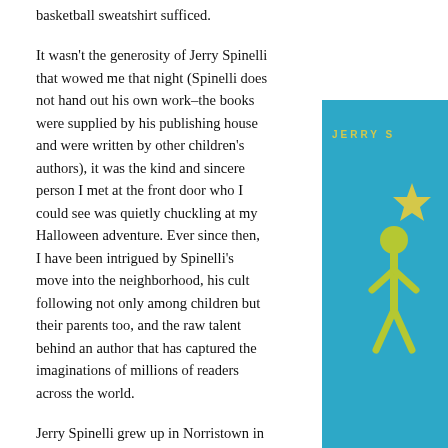basketball sweatshirt sufficed.
It wasn't the generosity of Jerry Spinelli that wowed me that night (Spinelli does not hand out his own work–the books were supplied by his publishing house and were written by other children's authors), it was the kind and sincere person I met at the front door who I could see was quietly chuckling at my Halloween adventure. Ever since then, I have been intrigued by Spinelli's move into the neighborhood, his cult following not only among children but their parents too, and the raw talent behind an author that has captured the imaginations of millions of readers across the world.
Jerry Spinelli grew up in Norristown in the '50s when the King of Prussia Mall was a cow pasture and downtown Norristown boasted 4 movie theaters. And that is exactly why a half-century later, Spinelli and his wife Eileen, also
[Figure (illustration): Book cover partially visible, teal/blue background with text 'JERRY S' in yellow at top and a yellow star shape and green stick figure illustration]